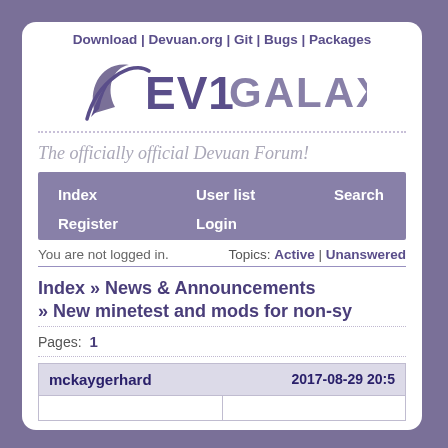Download | Devuan.org | Git | Bugs | Packages
[Figure (logo): Dev1 Galaxy logo with stylized D and text]
The officially official Devuan Forum!
Index   User list   Search
Register   Login
You are not logged in.    Topics: Active | Unanswered
Index » News & Announcements » New minetest and mods for non-sy
Pages: 1
| mckaygerhard | 2017-08-29 20:5 |
| --- | --- |
|  |  |